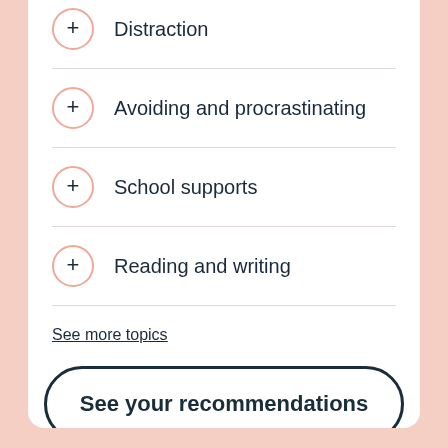Distraction
Avoiding and procrastinating
School supports
Reading and writing
See more topics
See your recommendations